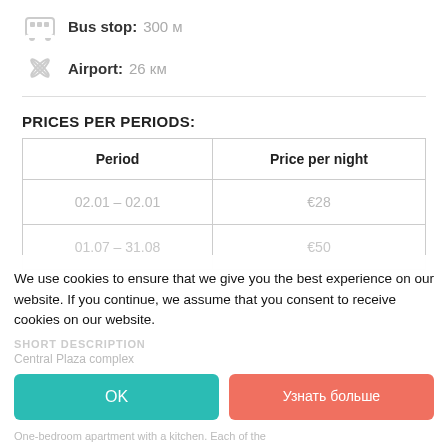Bus stop: 300 м
Airport: 26 км
PRICES PER PERIODS:
| Period | Price per night |
| --- | --- |
| 02.01 – 02.01 | €28 |
| 01.07 – 31.08 | €50 |
We use cookies to ensure that we give you the best experience on our website. If you continue, we assume that you consent to receive cookies on our website.
SHORT DESCRIPTION
Central Plaza complex
One-bedroom apartment with a kitchen. Each of the